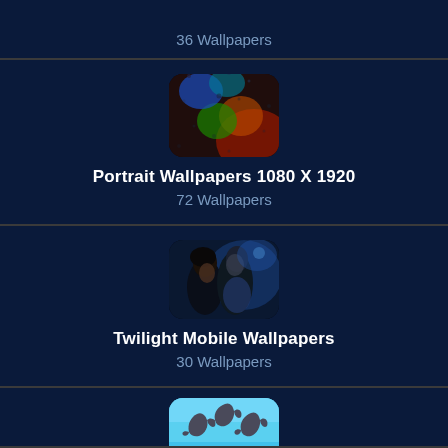36 Wallpapers
[Figure (photo): Thumbnail of colorful bokeh lights on rainy glass surface for Portrait Wallpapers 1080 X 1920]
Portrait Wallpapers 1080 X 1920
72 Wallpapers
[Figure (photo): Thumbnail of Twilight movie couple scene for Twilight Mobile Wallpapers]
Twilight Mobile Wallpapers
30 Wallpapers
[Figure (photo): Thumbnail of dolphins jumping against blue sky for a wallpaper category]